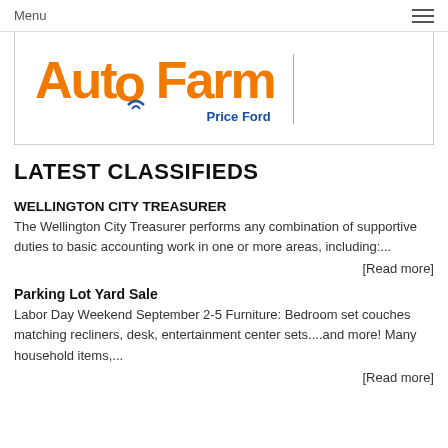Menu
[Figure (logo): AutoFarm Price Ford logo with orange AutoFarm text, road/highway graphic underneath, and blue 'Price Ford' text to the right]
LATEST CLASSIFIEDS
WELLINGTON CITY TREASURER
The Wellington City Treasurer performs any combination of supportive duties to basic accounting work in one or more areas, including:...
[Read more]
Parking Lot Yard Sale
Labor Day Weekend September 2-5 Furniture: Bedroom set couches matching recliners, desk, entertainment center sets....and more! Many household items,...
[Read more]